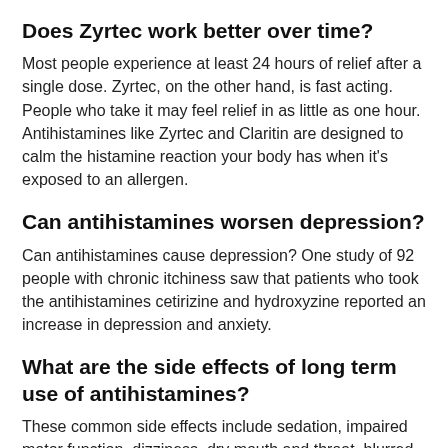Does Zyrtec work better over time?
Most people experience at least 24 hours of relief after a single dose. Zyrtec, on the other hand, is fast acting. People who take it may feel relief in as little as one hour. Antihistamines like Zyrtec and Claritin are designed to calm the histamine reaction your body has when it's exposed to an allergen.
Can antihistamines worsen depression?
Can antihistamines cause depression? One study of 92 people with chronic itchiness saw that patients who took the antihistamines cetirizine and hydroxyzine reported an increase in depression and anxiety.
What are the side effects of long term use of antihistamines?
These common side effects include sedation, impaired motor function, dizziness, dry mouth and throat, blurred